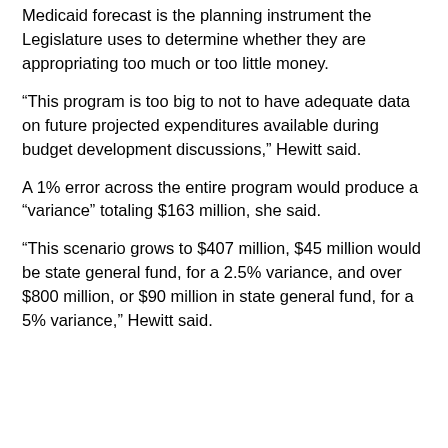Medicaid forecast is the planning instrument the Legislature uses to determine whether they are appropriating too much or too little money.
“This program is too big to not to have adequate data on future projected expenditures available during budget development discussions,” Hewitt said.
A 1% error across the entire program would produce a “variance” totaling $163 million, she said.
“This scenario grows to $407 million, $45 million would be state general fund, for a 2.5% variance, and over $800 million, or $90 million in state general fund, for a 5% variance,” Hewitt said.